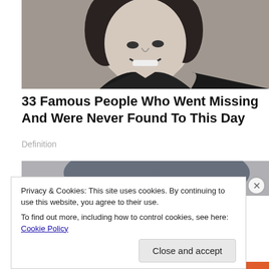[Figure (photo): Black and white photo of a young smiling person with curly dark hair and dark jacket, cropped to show face and upper shoulders.]
33 Famous People Who Went Missing And Were Never Found To This Day
Definition
[Figure (photo): Partial view of a second photo, showing dark curved shapes (possibly headphones or hat) against a lighter background.]
Privacy & Cookies: This site uses cookies. By continuing to use this website, you agree to their use.
To find out more, including how to control cookies, see here: Cookie Policy
Close and accept